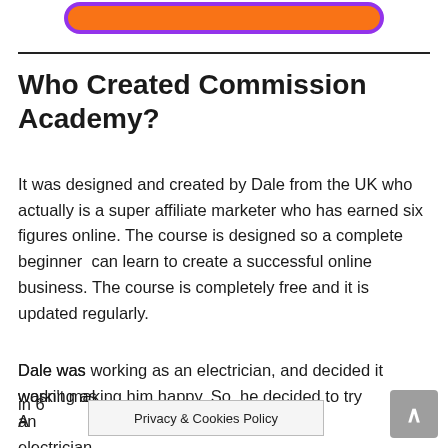[Figure (other): Orange rounded rectangle button/banner with purple border at top of page]
Who Created Commission Academy?
It was designed and created by Dale from the UK who actually is a super affiliate marketer who has earned six figures online. The course is designed so a complete beginner  can learn to create a successful online business. The course is completely free and it is updated regularly.
Dale was working as an electrician, and decided it wasn't making him happy. So, he decided to try A in 6
[Figure (other): Privacy & Cookies Policy popup banner at bottom of page]
[Figure (other): Gray scroll-to-top button with upward caret in bottom right corner]